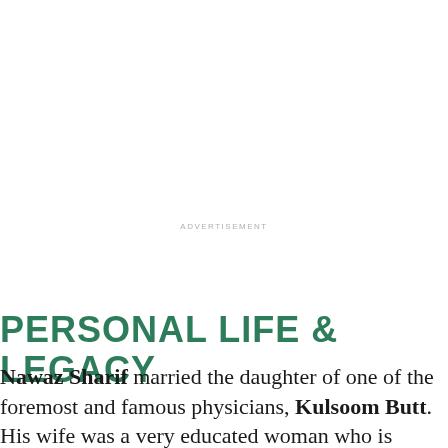ADVERTISEMENT
PERSONAL LIFE & LEGACY
Nawaz Sharif married the daughter of one of the foremost and famous physicians, Kulsoom Butt. His wife was a very educated woman who is always